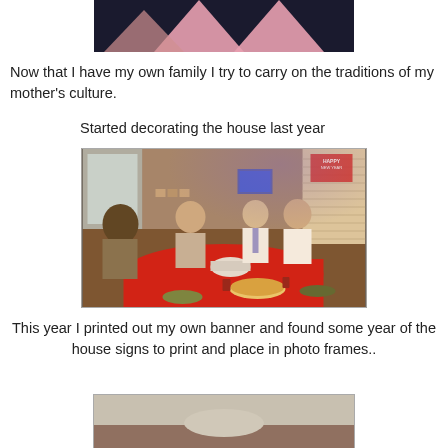[Figure (photo): Partial photo at top of page showing pink triangular shapes against a dark background, appears to be decorations]
Now that I have my own family I try to carry on the traditions of my mother's culture.
Started decorating the house last year
[Figure (photo): Photo of four people seated around a dining table covered with a red tablecloth. The table has food including a pizza/pie and various bowls. A Happy New Year banner is visible on the wall in the upper right. The setting appears to be a home dining room.]
This year I printed out my own banner and found some year of the house signs to print and place in photo frames..
[Figure (photo): Partial photo at bottom of page, appears to show a surface with objects, partially cut off]